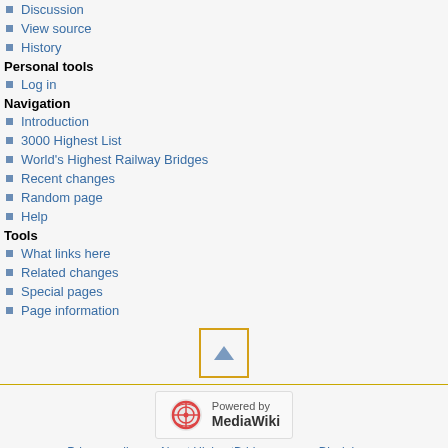Discussion
View source
History
Personal tools
Log in
Navigation
Introduction
3000 Highest List
World's Highest Railway Bridges
Recent changes
Random page
Help
Tools
What links here
Related changes
Special pages
Page information
[Figure (other): Scroll to top button with upward triangle arrow inside a yellow-bordered box]
Powered by MediaWiki | Privacy policy | About HighestBridges.com | Disclaimers